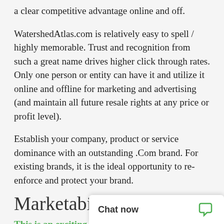a clear competitive advantage online and off.
WatershedAtlas.com is relatively easy to spell / highly memorable. Trust and recognition from such a great name drives higher click through rates. Only one person or entity can have it and utilize it online and offline for marketing and advertising (and maintain all future resale rights at any price or profit level).
Establish your company, product or service dominance with an outstanding .Com brand. For existing brands, it is the ideal opportunity to re-enforce and protect your brand.
Marketability
This is an exciting lo
Historically, exact m